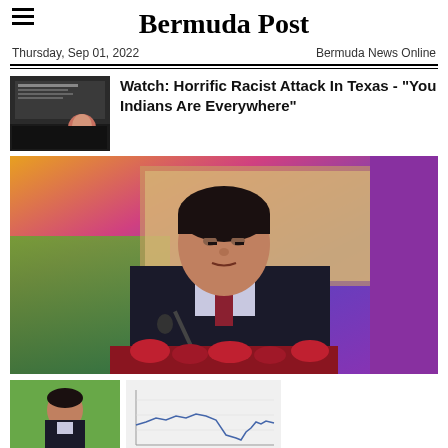Bermuda Post
Thursday, Sep 01, 2022    Bermuda News Online
Watch: Horrific Racist Attack In Texas - "You Indians Are Everywhere"
[Figure (photo): Man in dark suit speaking at podium with microphone, colorful background]
[Figure (photo): Small thumbnail of man speaking]
[Figure (continuous-plot): Small chart thumbnail showing line graph]